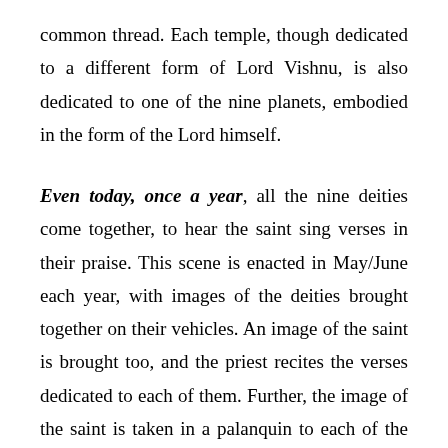common thread. Each temple, though dedicated to a different form of Lord Vishnu, is also dedicated to one of the nine planets, embodied in the form of the Lord himself.
Even today, once a year, all the nine deities come together, to hear the saint sing verses in their praise. This scene is enacted in May/June each year, with images of the deities brought together on their vehicles. An image of the saint is brought too, and the priest recites the verses dedicated to each of them. Further, the image of the saint is taken in a palanquin to each of the nine temples, and verses related to each shrine are chanted in